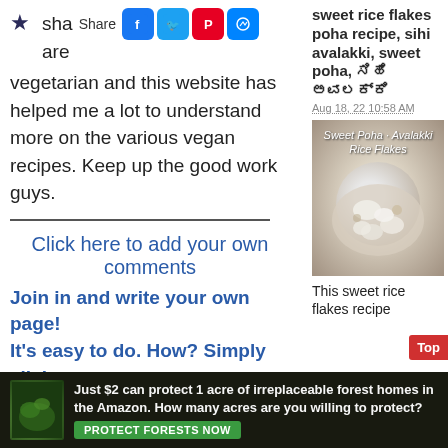sha are vegetarian and this website has helped me a lot to understand more on the various vegan recipes. Keep up the good work guys.
Click here to add your own comments
Join in and write your own page! It's easy to do. How? Simply click here to return to Vegetarian...
Sweet rice flakes poha recipe, sihi avalakki, sweet poha, ಸಿಹಿ ಅವಲಕ್ಕಿ
Aug 18, 22 10:58 AM
[Figure (photo): Bowl of sweet rice flakes / avalakki / poha with text overlay 'Sweet Poha · Avalakki · Rice Flakes']
This sweet rice flakes recipe
Just $2 can protect 1 acre of irreplaceable forest homes in the Amazon. How many acres are you willing to protect?